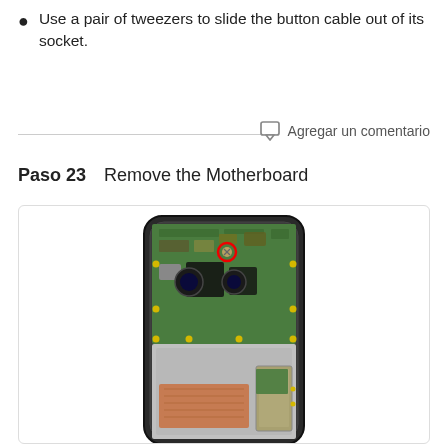Use a pair of tweezers to slide the button cable out of its socket.
Agregar un comentario
Paso 23    Remove the Motherboard
[Figure (photo): Disassembled smartphone showing motherboard with a red circle annotation highlighting a screw location. The green circuit board is visible in the upper portion, with a silver/gray frame and copper thermal pad in the lower portion.]